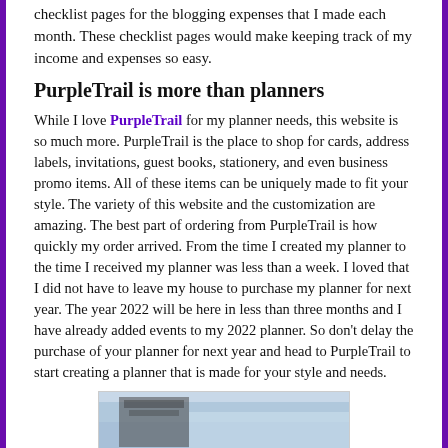checklist pages for the blogging expenses that I made each month. These checklist pages would make keeping track of my income and expenses so easy.
PurpleTrail is more than planners
While I love PurpleTrail for my planner needs, this website is so much more. PurpleTrail is the place to shop for cards, address labels, invitations, guest books, stationery, and even business promo items. All of these items can be uniquely made to fit your style. The variety of this website and the customization are amazing. The best part of ordering from PurpleTrail is how quickly my order arrived. From the time I created my planner to the time I received my planner was less than a week. I loved that I did not have to leave my house to purchase my planner for next year. The year 2022 will be here in less than three months and I have already added events to my 2022 planner. So don't delay the purchase of your planner for next year and head to PurpleTrail to start creating a planner that is made for your style and needs.
[Figure (photo): Photo partially visible at bottom of page, appears to show a wintry or outdoor scene with blue/grey tones]